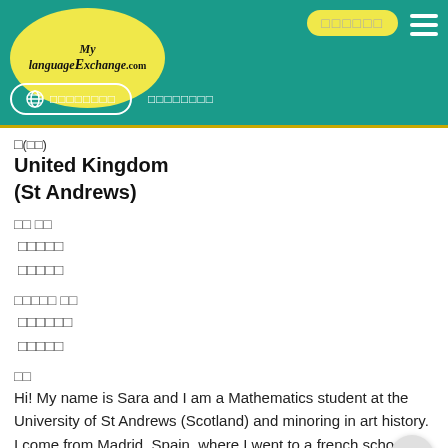[Figure (logo): MyLanguageExchange.com logo in yellow oval on teal header with navigation elements]
□(□□)
United Kingdom
(St Andrews)
□□ □□
□□□□□
□□□□□
□□□□□ □□
□□□□□□
□□□□□
□□
Hi! My name is Sara and I am a Mathematics student at the University of St Andrews (Scotland) and minoring in art history. I come from Madrid, Spain, where I went to a french school. I have been practising Danish for a while, and at the same time had the opportunity to...